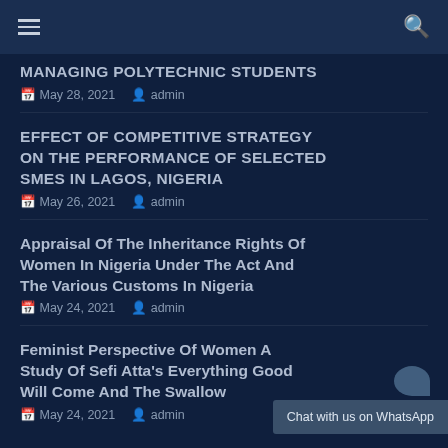Navigation bar with hamburger menu and search icon
MANAGING POLYTECHNIC STUDENTS
May 28, 2021  admin
EFFECT OF COMPETITIVE STRATEGY ON THE PERFORMANCE OF SELECTED SMEs IN LAGOS, NIGERIA
May 26, 2021  admin
Appraisal Of The Inheritance Rights Of Women In Nigeria Under The Act And The Various Customs In Nigeria
May 24, 2021  admin
Feminist Perspective Of Women A Study Of Sefi Atta's Everything Good Will Come And The Swallow
May 24, 2021  admin